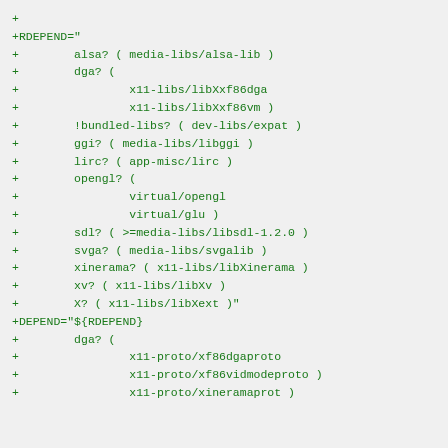+
+RDEPEND="
+        alsa? ( media-libs/alsa-lib )
+        dga? (
+                x11-libs/libXxf86dga
+                x11-libs/libXxf86vm )
+        !bundled-libs? ( dev-libs/expat )
+        ggi? ( media-libs/libggi )
+        lirc? ( app-misc/lirc )
+        opengl? (
+                virtual/opengl
+                virtual/glu )
+        sdl? ( >=media-libs/libsdl-1.2.0 )
+        svga? ( media-libs/svgalib )
+        xinerama? ( x11-libs/libXinerama )
+        xv? ( x11-libs/libXv )
+        X? ( x11-libs/libXext )"
+DEPEND="${RDEPEND}
+        dga? (
+                x11-proto/xf86dgaproto
+                x11-proto/xf86vidmodeproto )
+                x11-proto/xineramaprot )